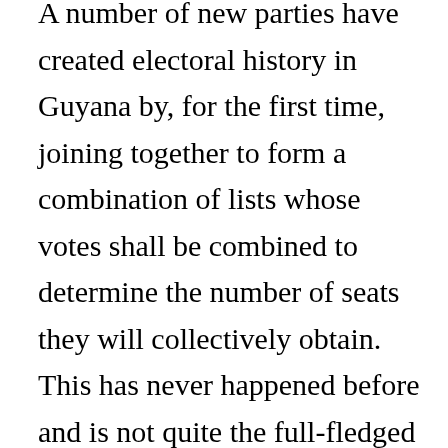A number of new parties have created electoral history in Guyana by, for the first time, joining together to form a combination of lists whose votes shall be combined to determine the number of seats they will collectively obtain. This has never happened before and is not quite the full-fledged unity among new parties that many have called for. But it reflects the determination of new parties to create a unified effort to challenge the electoral domination of the major parties which are forced by the Guyanese context to